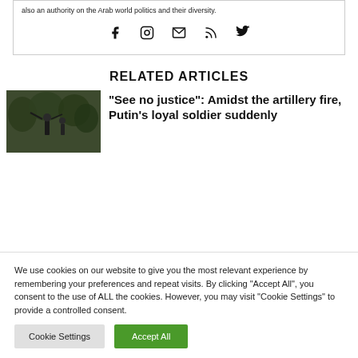also an authority on the Arab world politics and their diversity.
[Figure (illustration): Social media icons: Facebook, Instagram, Email/envelope, RSS feed, Twitter]
RELATED ARTICLES
[Figure (photo): Soldiers with artillery equipment in a forested area]
“See no justice”: Amidst the artillery fire, Putin’s loyal soldier suddenly
We use cookies on our website to give you the most relevant experience by remembering your preferences and repeat visits. By clicking “Accept All”, you consent to the use of ALL the cookies. However, you may visit "Cookie Settings" to provide a controlled consent.
Cookie Settings | Accept All